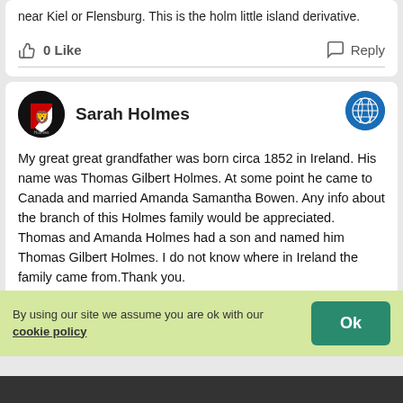near Kiel or Flensburg. This is the holm little island derivative.
0 Like   Reply
Sarah Holmes
My great great grandfather was born circa 1852 in Ireland. His name was Thomas Gilbert Holmes. At some point he came to Canada and married Amanda Samantha Bowen. Any info about the branch of this Holmes family would be appreciated. Thomas and Amanda Holmes had a son and named him Thomas Gilbert Holmes. I do not know where in Ireland the family came from.Thank you.
0 Like   Reply
By using our site we assume you are ok with our cookie policy
Ok